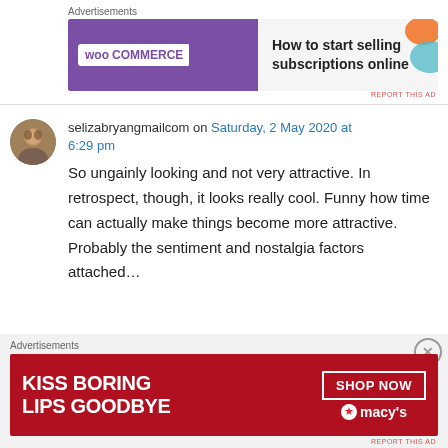[Figure (other): WooCommerce advertisement banner: 'How to start selling subscriptions online']
selizabryangmailcom on Saturday, 2 May 2020 at 6:29 pm
So ungainly looking and not very attractive. In retrospect, though, it looks really cool. Funny how time can actually make things become more attractive. Probably the sentiment and nostalgia factors attached…
[Figure (other): Macy's advertisement banner: 'KISS BORING LIPS GOODBYE' with SHOP NOW button]